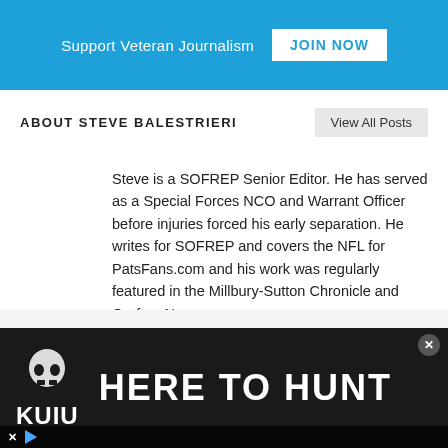Support Veteran Journalism  JOIN NOW
ABOUT STEVE BALESTRIERI
Steve is a SOFREP Senior Editor. He has served as a Special Forces NCO and Warrant Officer before injuries forced his early separation. He writes for SOFREP and covers the NFL for PatsFans.com and his work was regularly featured in the Millbury-Sutton Chronicle and Grafton News newspapers.
[Figure (other): KUIU advertisement banner with text HERE TO HUNT on dark background]